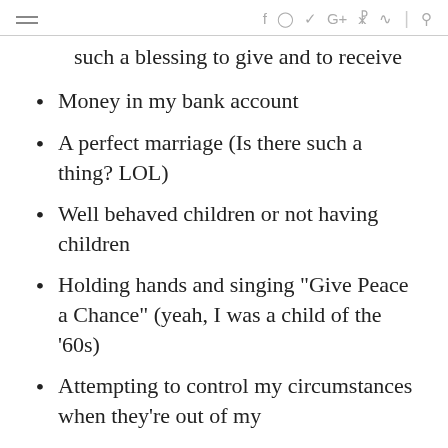≡  f  ⊙  𝕎  G+  𝒑  ⌂  |  🔍
such a blessing to give and to receive
Money in my bank account
A perfect marriage (Is there such a thing? LOL)
Well behaved children or not having children
Holding hands and singing "Give Peace a Chance" (yeah, I was a child of the '60s)
Attempting to control my circumstances when they're out of my